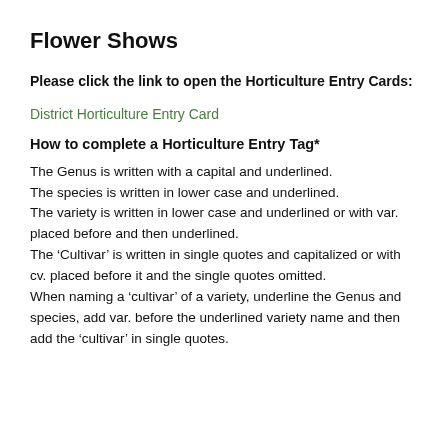Flower Shows
Please click the link to open the Horticulture Entry Cards:
District Horticulture Entry Card
How to complete a Horticulture Entry Tag*
The Genus is written with a capital and underlined. The species is written in lower case and underlined. The variety is written in lower case and underlined or with var. placed before and then underlined. The ‘Cultivar’ is written in single quotes and capitalized or with cv. placed before it and the single quotes omitted. When naming a ‘cultivar’ of a variety, underline the Genus and species, add var. before the underlined variety name and then add the ‘cultivar’ in single quotes.